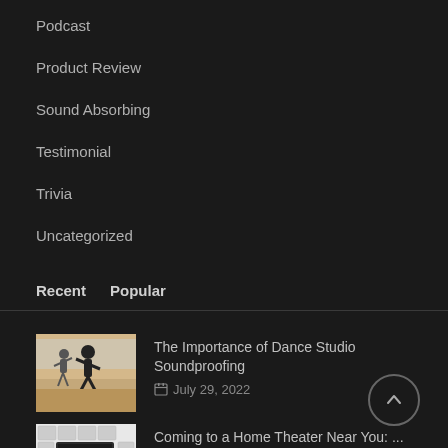Podcast
Product Review
Sound Absorbing
Testimonial
Trivia
Uncategorized
Recent  Popular
The Importance of Dance Studio Soundproofing
July 29, 2022
Coming to a Home Theater Near You: ...
July 1, 2022